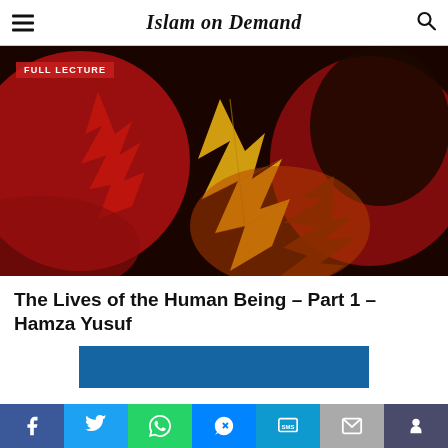Islam on Demand
[Figure (photo): Close-up autumn maple leaves, a large yellow/orange maple leaf in center surrounded by red and dark leaves]
The Lives of the Human Being – Part 1 – Hamza Yusuf
[Figure (screenshot): Partial video player with dark blue background, beginning to appear at bottom of page]
Social share bar: Facebook, Twitter, WhatsApp, Messenger, SMS, Email, Mix